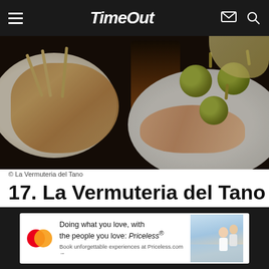Time Out
[Figure (photo): Food photo showing tapas: a white bowl with skewered items on the left, a dark glass of drink in the center, and a plate with green olives and shrimp on the right, on a dark table background.]
© La Vermuteria del Tano
17. La Vermuteria del Tano
Restaurants   Gràcia   €€€€
[Figure (infographic): Advertisement: Mastercard - Doing what you love, with the people you love: Priceless® Book unforgettable experiences at Priceless.com →]